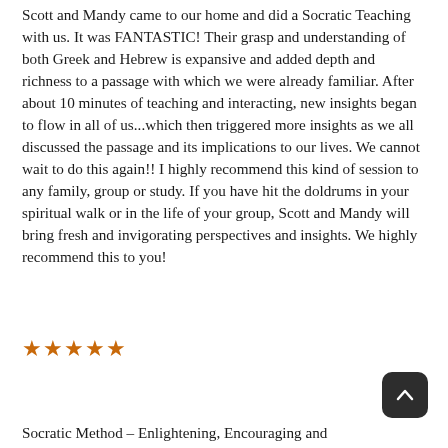Scott and Mandy came to our home and did a Socratic Teaching with us. It was FANTASTIC! Their grasp and understanding of both Greek and Hebrew is expansive and added depth and richness to a passage with which we were already familiar. After about 10 minutes of teaching and interacting, new insights began to flow in all of us...which then triggered more insights as we all discussed the passage and its implications to our lives. We cannot wait to do this again!! I highly recommend this kind of session to any family, group or study. If you have hit the doldrums in your spiritual walk or in the life of your group, Scott and Mandy will bring fresh and invigorating perspectives and insights. We highly recommend this to you!
[Figure (other): Five filled star rating icons in orange/amber color]
Socratic Method – Enlightening, Encouraging and